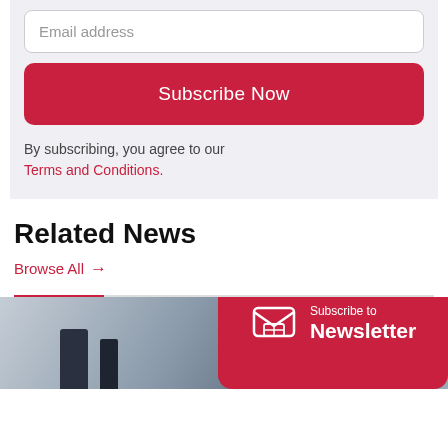Email address
Subscribe Now
By subscribing, you agree to our Terms and Conditions.
Related News
Browse All →
[Figure (photo): Silhouetted figures in a bright interior space]
Subscribe to Newsletter